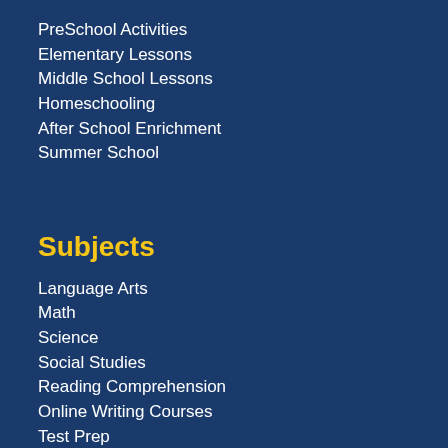PreSchool Activities
Elementary Lessons
Middle School Lessons
Homeschooling
After School Enrichment
Summer School
Subjects
Language Arts
Math
Science
Social Studies
Reading Comprehension
Online Writing Courses
Test Prep
Unscramble